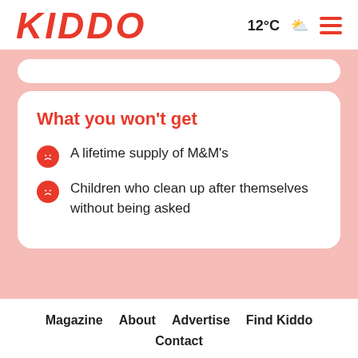KIDDO | 12°C ☁️ ☰
What you won't get
A lifetime supply of M&M's
Children who clean up after themselves without being asked
Magazine   About   Advertise   Find Kiddo   Contact